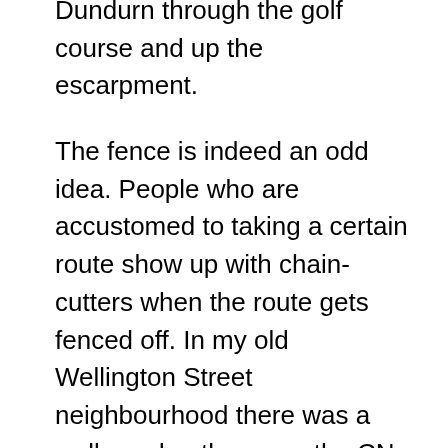Dundurn through the golf course and up the escarpment.
The fence is indeed an odd idea. People who are accustomed to taking a certain route show up with chain-cutters when the route gets fenced off. In my old Wellington Street neighbourhood there was a well-used path across the CN railway tracks; attempts were made to fence it off more than once and it wasn't more than a day or two before gaping holes in the fence appeared and people resumed travel as normal.
As far as the golf course goes, it's great for snowboarding and sledding in the winter.